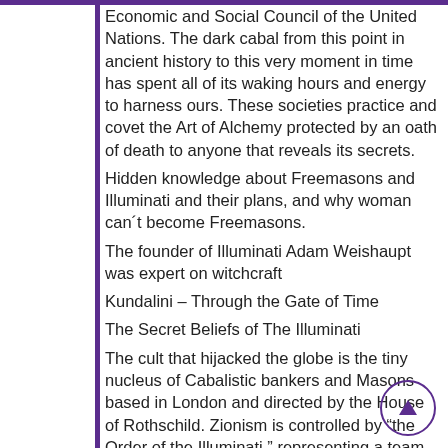Economic and Social Council of the United Nations. The dark cabal from this point in ancient history to this very moment in time has spent all of its waking hours and energy to harness ours. These societies practice and covet the Art of Alchemy protected by an oath of death to anyone that reveals its secrets.
Hidden knowledge about Freemasons and Illuminati and their plans, and why woman can´t become Freemasons.
The founder of Illuminati Adam Weishaupt was expert on witchcraft
Kundalini – Through the Gate of Time
The Secret Beliefs of The Illuminati
The cult that hijacked the globe is the tiny nucleus of Cabalistic bankers and Masons based in London and directed by the House of Rothschild. Zionism is controlled by "the Order of the Illuminati," representing a team of dynastic family members, related to the Rothschilds and European aristocracy, united by Freemasonry, marriage, and money.
The specific aim of Illuminati and Freemasons is to take total control of Planet Earth through covert mind-control methods, much as the secret government is trying to do.